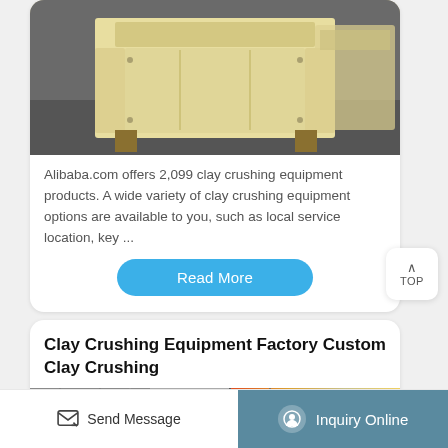[Figure (photo): Photo of cream/yellow-colored industrial clay crushing equipment on a dark floor]
Alibaba.com offers 2,099 clay crushing equipment products. A wide variety of clay crushing equipment options are available to you, such as local service location, key ...
Read More
Clay Crushing Equipment Factory Custom Clay Crushing
[Figure (photo): Photo of industrial factory machinery with red and yellow components]
Send Message
Inquiry Online